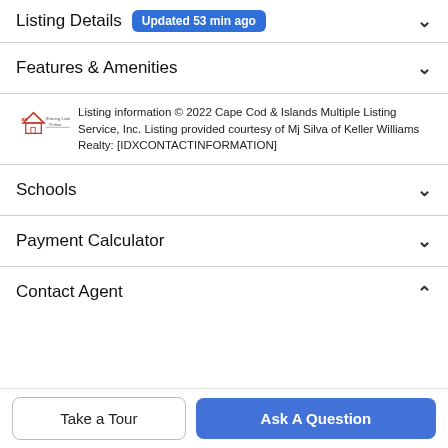Listing Details  Updated 53 min ago
Features & Amenities
Listing information © 2022 Cape Cod & Islands Multiple Listing Service, Inc. Listing provided courtesy of Mj Silva of Keller Williams Realty: [IDXCONTACTINFORMATION]
Schools
Payment Calculator
Contact Agent
Take a Tour
Ask A Question